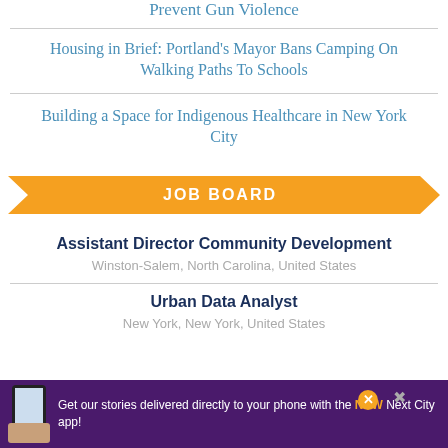Prevent Gun Violence
Housing in Brief: Portland's Mayor Bans Camping On Walking Paths To Schools
Building a Space for Indigenous Healthcare in New York City
JOB BOARD
Assistant Director Community Development
Winston-Salem, North Carolina, United States
Urban Data Analyst
New York, New York, United States
Get our stories delivered directly to your phone with the NEW Next City app!